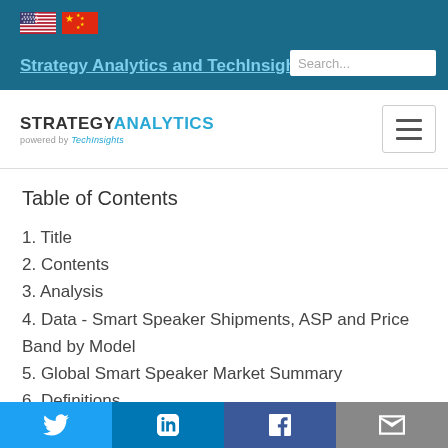Strategy Analytics and TechInsights
[Figure (logo): Strategy Analytics powered by TechInsights logo with hamburger menu]
Table of Contents
1. Title
2. Contents
3. Analysis
4. Data - Smart Speaker Shipments, ASP and Price Band by Model
5. Global Smart Speaker Market Summary
6. Definitions
7. Methodology
8. Contacts
Twitter LinkedIn Facebook Email social share bar